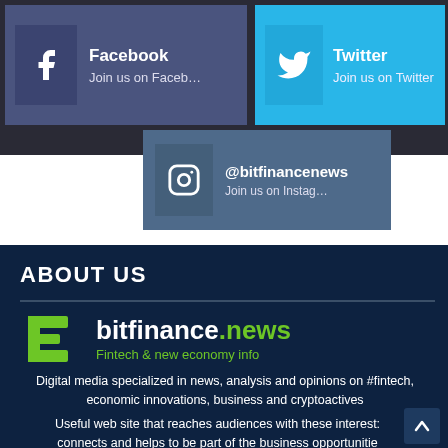[Figure (screenshot): Social media buttons: Facebook, Twitter, Instagram for bitfinancenews]
ABOUT US
[Figure (logo): bitfinance.news logo with green B icon and white/green text. Tagline: Fintech & new economy info]
Digital media specialized in news, analysis and opinions on #fintech, economic innovations, business and cryptoactives
Useful web site that reaches audiences with these interest: connects and helps to be part of the business opportunitie